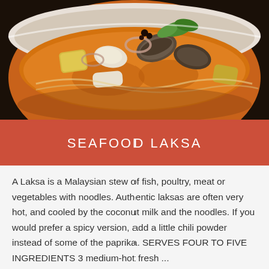[Figure (photo): Bowl of seafood laksa with mussels, fish cakes, tofu, and noodles in a rich orange coconut curry broth, garnished with fresh herbs]
SEAFOOD LAKSA
A Laksa is a Malaysian stew of fish, poultry, meat or vegetables with noodles. Authentic laksas are often very hot, and cooled by the coconut milk and the noodles. If you would prefer a spicy version, add a little chili powder instead of some of the paprika. SERVES FOUR TO FIVE INGREDIENTS 3 medium-hot fresh ...
Continue reading